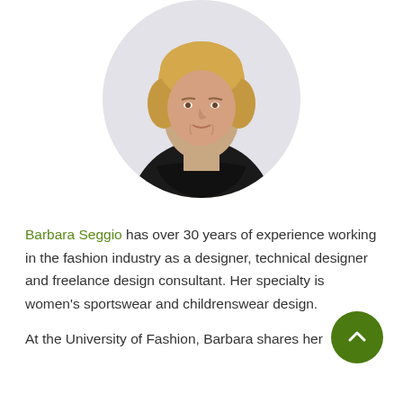[Figure (photo): Circular profile photo of Barbara Seggio, a woman with short blonde hair wearing a black top, shown from the shoulders up against a light gray background.]
Barbara Seggio has over 30 years of experience working in the fashion industry as a designer, technical designer and freelance design consultant. Her specialty is women's sportswear and childrenswear design.
At the University of Fashion, Barbara shares her